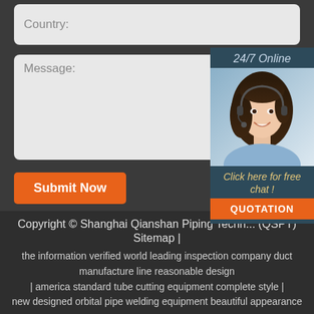Country:
Message:
Submit Now
24/7 Online
[Figure (photo): Customer service agent woman with headset smiling]
Click here for free chat !
QUOTATION
Copyright © Shanghai Qianshan Piping Techn... (QSPT)
Sitemap |
the information verified world leading inspection company duct manufacture line reasonable design
| america standard tube cutting equipment complete style |
new designed orbital pipe welding equipment beautiful appearance